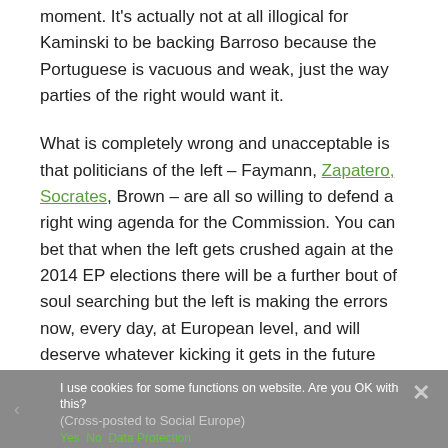moment. It's actually not at all illogical for Kaminski to be backing Barroso because the Portuguese is vacuous and weak, just the way parties of the right would want it.
What is completely wrong and unacceptable is that politicians of the left – Faymann, Zapatero, Socrates, Brown – are all so willing to defend a right wing agenda for the Commission. You can bet that when the left gets crushed again at the 2014 EP elections there will be a further bout of soul searching but the left is making the errors now, every day, at European level, and will deserve whatever kicking it gets in the future due to a complete and utter lack of leadership or ideology. It's hopeless.
I use cookies for some functions on website. Are you OK with this?
(Cross-posted to Social Europe)
Yes  No  Data Protection